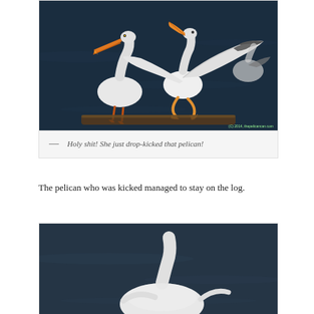[Figure (photo): Two white American pelicans near water on a log. One pelican has wings spread wide appearing to kick or land on the other pelican. A third pelican is visible in the background. Dark water in background. Watermark reads: (C) 2014, thepelicancan.com]
— Holy shit! She just drop-kicked that pelican!
The pelican who was kicked managed to stay on the log.
[Figure (photo): A close-up photo of a white pelican near dark water, partially visible at bottom of page.]